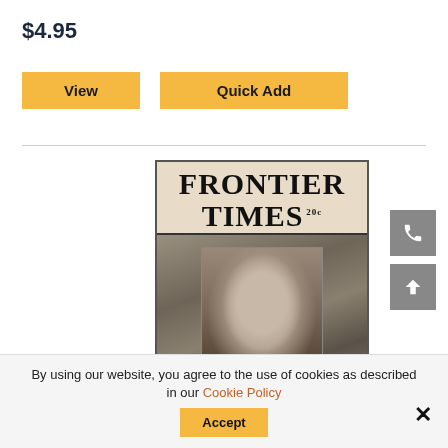$4.95
View
Quick Add
[Figure (illustration): Vintage Frontier Times magazine cover showing a black-and-white portrait photograph of a woman on the cover, with bold serif text reading FRONTIER TIMES and price 20c]
By using our website, you agree to the use of cookies as described in our Cookie Policy
Accept